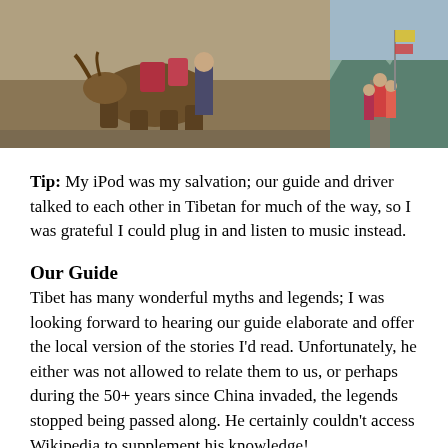[Figure (photo): Two photos side by side at top of page. Left photo shows a yak or large animal being led across dirt terrain with a person. Right photo shows people in traditional dress walking along a mountain road.]
Tip: My iPod was my salvation;  our guide and driver talked to each other in Tibetan for much of the way, so I was grateful I could plug in and listen to music instead.
Our Guide
Tibet has many wonderful myths and legends;  I was looking forward to hearing our  guide elaborate and offer the local version of the stories I'd read.  Unfortunately, he either was not allowed to relate them to us, or perhaps during the 50+ years since China invaded, the legends stopped being passed along.  He certainly couldn't access Wikipedia to supplement his knowledge!